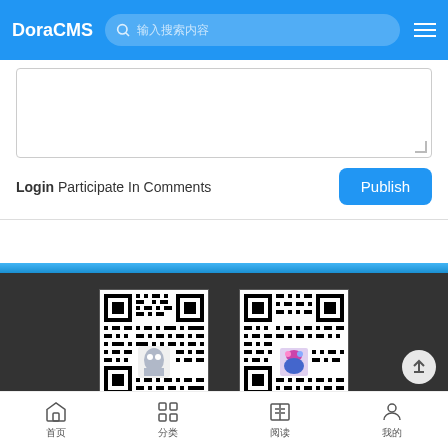DoraCMS
Login Participate In Comments
[Figure (screenshot): Two QR codes side by side on dark background. Left QR code labeled 'DoraCMS QQ群', right QR code labeled '微信交流群']
DoraCMS QQ群
微信交流群
1版权所有 复制必究，联系我们：doramart@qq.com
首页 分类 阅读 我的